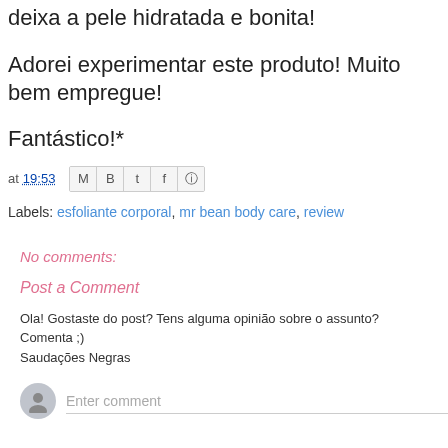deixa a pele hidratada e bonita!
Adorei experimentar este produto! Muito bem empregue!
Fantástico!*
at 19:53 [share icons]
Labels: esfoliante corporal, mr bean body care, review
No comments:
Post a Comment
Ola! Gostaste do post? Tens alguma opinião sobre o assunto?
Comenta ;)
Saudações Negras
Enter comment